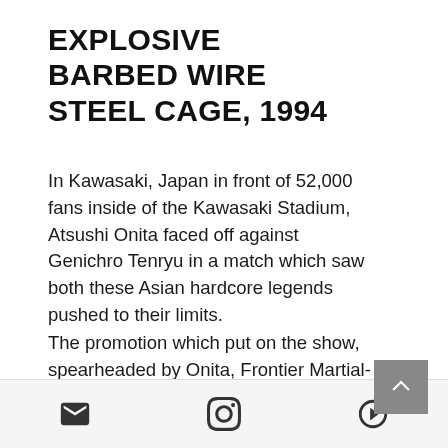EXPLOSIVE BARBED WIRE STEEL CAGE, 1994
In Kawasaki, Japan in front of 52,000 fans inside of the Kawasaki Stadium, Atsushi Onita faced off against Genichro Tenryu in a match which saw both these Asian hardcore legends pushed to their limits.
The promotion which put on the show, spearheaded by Onita, Frontier Martial-Arts Wrestling was aptly named. The company was truly at the forefront of what was thought
[Figure (other): Scroll-to-top button (chevron up arrow on grey background)]
Email icon, Instagram icon, YouTube play button icon